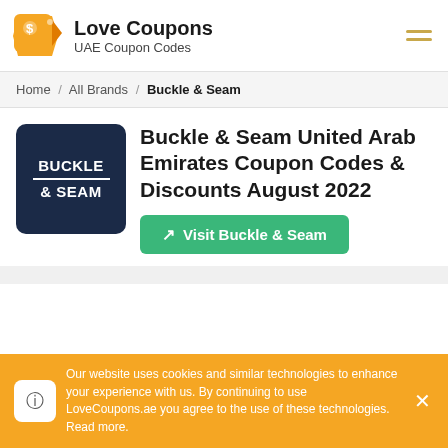[Figure (logo): Love Coupons logo with orange tag icon and text 'Love Coupons / UAE Coupon Codes']
Home / All Brands / Buckle & Seam
[Figure (logo): Buckle & Seam brand logo - dark navy square with white text BUCKLE & SEAM]
Buckle & Seam United Arab Emirates Coupon Codes & Discounts August 2022
Visit Buckle & Seam
Our website uses cookies and similar technologies to enhance your experience with us. By continuing to use LoveCoupons.ae you agree to the use of these technologies. Read more.